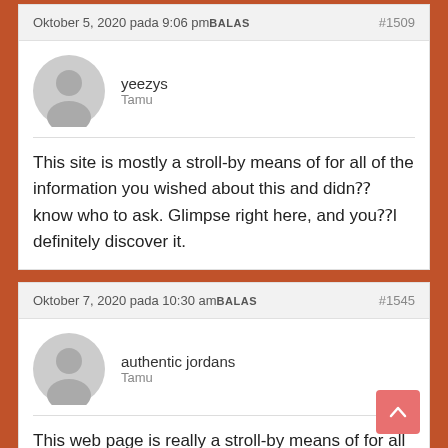Oktober 5, 2020 pada 9:06 pm BALAS  #1509
yeezys
Tamu
This site is mostly a stroll-by means of for all of the information you wished about this and didn⁇ know who to ask. Glimpse right here, and you⁇l definitely discover it.
Oktober 7, 2020 pada 10:30 am BALAS  #1545
authentic jordans
Tamu
This web page is really a stroll-by means of for all the data you wished about this and didn⁇ know who to